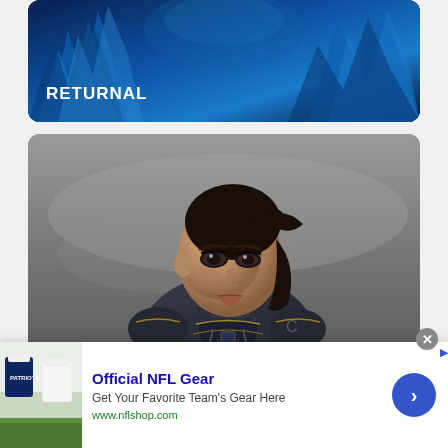[Figure (screenshot): Game screenshot showing RETURNAL title text over a blue alien foliage background]
[Figure (screenshot): Game screenshot showing a female character in dark sci-fi combat armor with brown hair, facing slightly left, against a grey atmospheric background]
[Figure (other): Advertisement banner for Official NFL Gear from nflshop.com showing Patriots jerseys on the left, text in center, and a blue circular arrow button on the right]